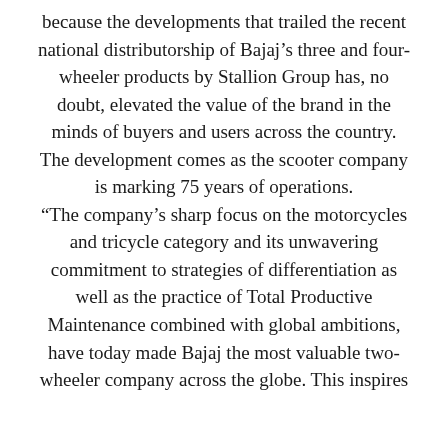because the developments that trailed the recent national distributorship of Bajaj’s three and four-wheeler products by Stallion Group has, no doubt, elevated the value of the brand in the minds of buyers and users across the country. The development comes as the scooter company is marking 75 years of operations. “The company’s sharp focus on the motorcycles and tricycle category and its unwavering commitment to strategies of differentiation as well as the practice of Total Productive Maintenance combined with global ambitions, have today made Bajaj the most valuable two-wheeler company across the globe. This inspires